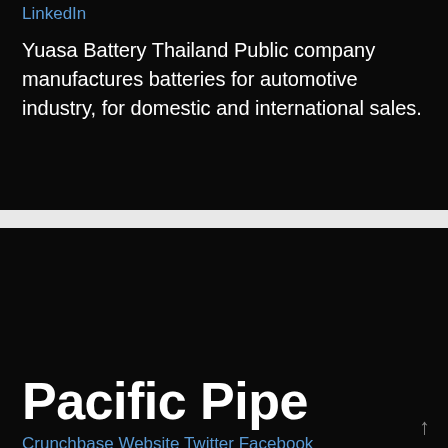LinkedIn
Yuasa Battery Thailand Public company manufactures batteries for automotive industry, for domestic and international sales.
Pacific Pipe
Crunchbase Website Twitter Facebook